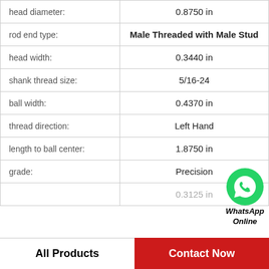| Property | Value |
| --- | --- |
| head diameter: | 0.8750 in |
| rod end type: | Male Threaded with Male Stud |
| head width: | 0.3440 in |
| shank thread size: | 5/16-24 |
| ball width: | 0.4370 in |
| thread direction: | Left Hand |
| length to ball center: | 1.8750 in |
| grade: | Precision |
| [partial] | 0.3125 in |
[Figure (logo): WhatsApp green circular icon with phone handset, followed by text 'WhatsApp Online' in bold italic]
All Products
Contact Now